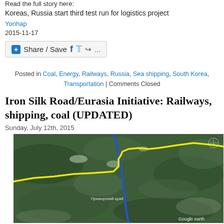Read the full story here:
Koreas, Russia start third test run for logistics project
Yonhap
2015-11-17
Share / Save
Posted in Coal, Energy, Railways, Russia, Sea shipping, South Korea, Transportation | Comments Closed
Iron Silk Road/Eurasia Initiative: Railways, shipping, coal (UPDATED)
Sunday, July 12th, 2015
[Figure (map): Satellite/aerial map showing railway routes marked with yellow and blue lines across a mountainous/forested landscape, Google Earth imagery]